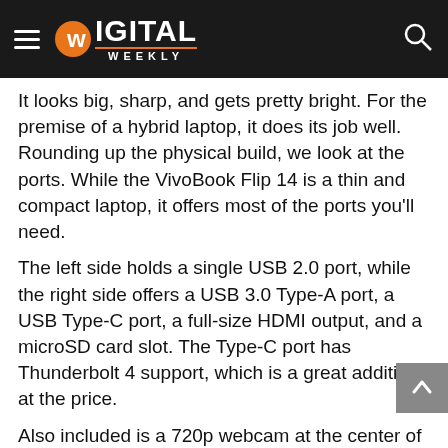DIGITAL WEEKLY
It looks big, sharp, and gets pretty bright. For the premise of a hybrid laptop, it does its job well.
Rounding up the physical build, we look at the ports. While the VivoBook Flip 14 is a thin and compact laptop, it offers most of the ports you'll need.
The left side holds a single USB 2.0 port, while the right side offers a USB 3.0 Type-A port, a USB Type-C port, a full-size HDMI output, and a microSD card slot. The Type-C port has Thunderbolt 4 support, which is a great addition at the price.
Also included is a 720p webcam at the center of the top bezel (delivers decent video quality), as well as support for Wi-Fi 6 and Bluetooth wireless connections.